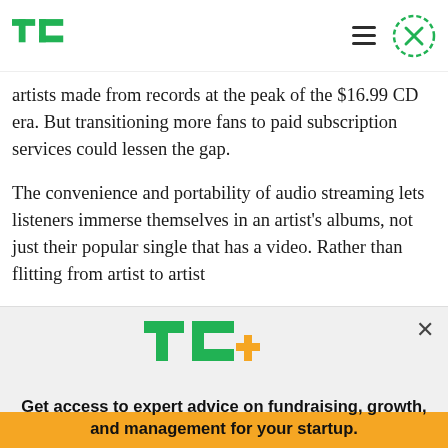TechCrunch
artists made from records at the peak of the $16.99 CD era. But transitioning more fans to paid subscription services could lessen the gap.
The convenience and portability of audio streaming lets listeners immerse themselves in an artist's albums, not just their popular single that has a video. Rather than flitting from artist to artist
[Figure (logo): TechCrunch TC+ logo in green with orange plus sign]
Get access to expert advice on fundraising, growth, and management for your startup.
EXPLORE NOW